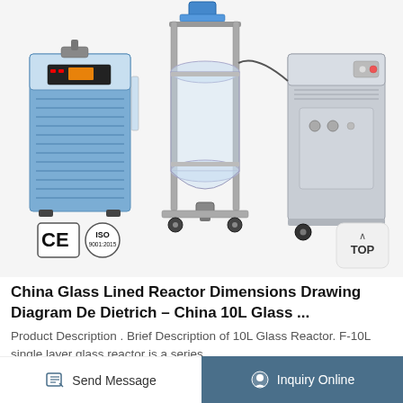[Figure (photo): Three laboratory/industrial machines: left is a blue chiller/cooling unit, center is a glass reactor vessel on a stainless steel frame, right is a gray cabinet unit. CE and ISO badges appear at lower left of image. A 'TOP' button appears at lower right.]
China Glass Lined Reactor Dimensions Drawing Diagram De Dietrich – China 10L Glass ...
Product Description . Brief Description of 10L Glass Reactor. F-10L single layer glass reactor is a series
Send Message   Inquiry Online